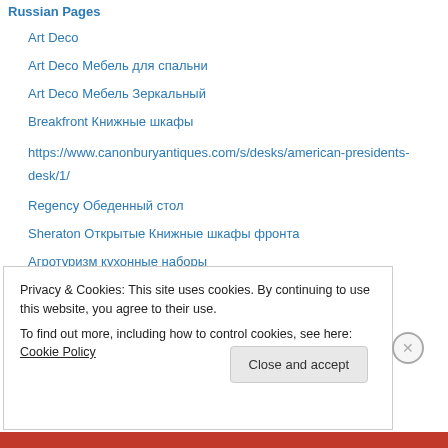Russian Pages
Art Deco
Art Deco Мебель для спальни
Art Deco Мебель Зеркальный
Breakfront Книжные шкафы
https://www.canonburyantiques.com/s/desks/american-presidents-desk/1/
Regency Обеденный стол
Sheraton Открытые Книжные шкафы фронта
Агротуризм кухонные наборы
Виндзор кафедр
Карлтон Хаус стол
Книжные шкафы Art Deco
Ладлербек кафедр
Privacy & Cookies: This site uses cookies. By continuing to use this website, you agree to their use.
To find out more, including how to control cookies, see here: Cookie Policy